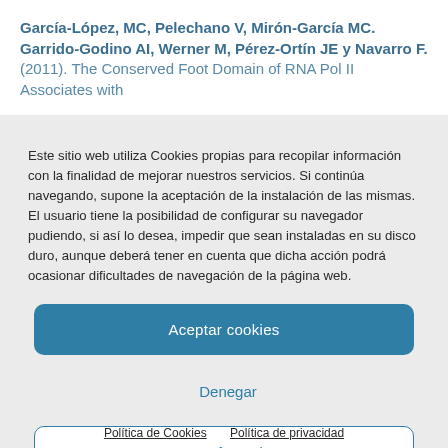García-López, MC, Pelechano V, Mirón-García MC. Garrido-Godino AI, Werner M, Pérez-Ortín JE y Navarro F. (2011). The Conserved Foot Domain of RNA Pol II Associates with
Este sitio web utiliza Cookies propias para recopilar información con la finalidad de mejorar nuestros servicios. Si continúa navegando, supone la aceptación de la instalación de las mismas. El usuario tiene la posibilidad de configurar su navegador pudiendo, si así lo desea, impedir que sean instaladas en su disco duro, aunque deberá tener en cuenta que dicha acción podrá ocasionar dificultades de navegación de la página web.
Aceptar cookies
Denegar
Ver preferencias
Política de Cookies  Política de privacidad